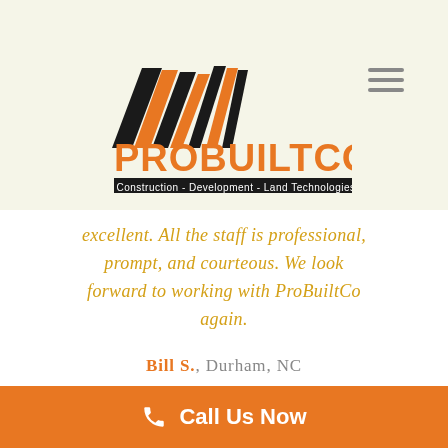[Figure (logo): ProBuiltCo logo with roof/house graphic in black and orange, text 'PROBUILTCO' in orange, subtitle bar 'Construction - Development - Land Technologies' in black]
excellent. All the staff is professional, prompt, and courteous. We look forward to working with ProBuiltCo again.
Bill S., Durham, NC
Call Us Now